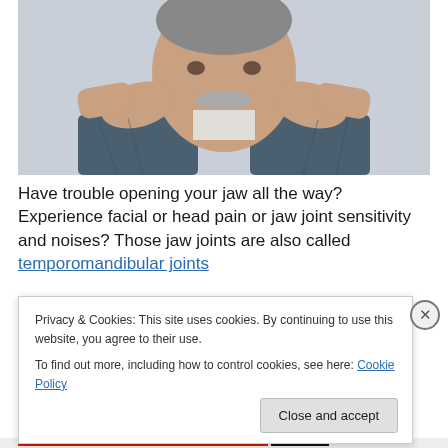[Figure (photo): Older man with white mustache holding his head/jaw in both hands, appearing to be in pain or distress, against a light grey background.]
Have trouble opening your jaw all the way? Experience facial or head pain or jaw joint sensitivity and noises? Those jaw joints are also called temporomandibular joints
Privacy & Cookies: This site uses cookies. By continuing to use this website, you agree to their use.
To find out more, including how to control cookies, see here: Cookie Policy
Close and accept